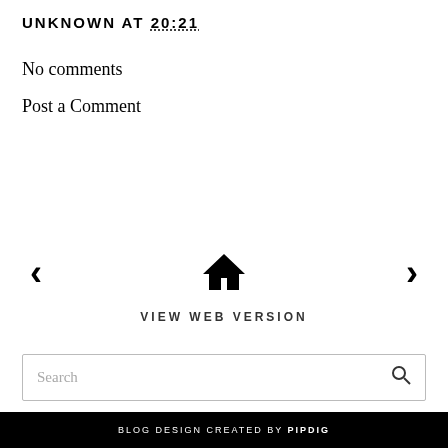UNKNOWN AT 20:21
No comments
Post a Comment
[Figure (other): Navigation section with left arrow, home icon, and right arrow, plus VIEW WEB VERSION link below]
[Figure (other): Search box with placeholder text 'Search' and magnifying glass icon]
© 2022 Editing Eloise | All rights reserved.
BLOG DESIGN CREATED BY pipdig